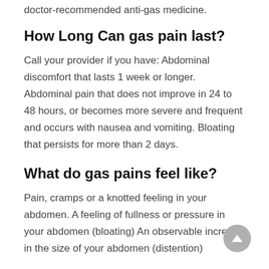doctor-recommended anti-gas medicine.
How Long Can gas pain last?
Call your provider if you have: Abdominal discomfort that lasts 1 week or longer. Abdominal pain that does not improve in 24 to 48 hours, or becomes more severe and frequent and occurs with nausea and vomiting. Bloating that persists for more than 2 days.
What do gas pains feel like?
Pain, cramps or a knotted feeling in your abdomen. A feeling of fullness or pressure in your abdomen (bloating) An observable increase in the size of your abdomen (distention)